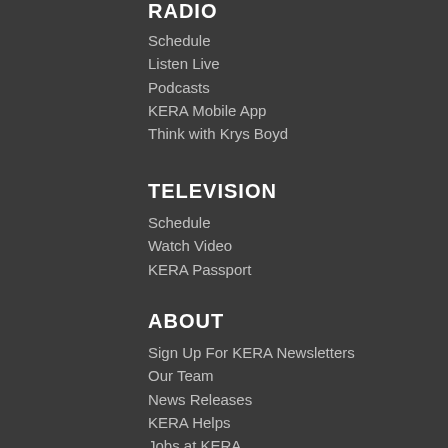RADIO
Schedule
Listen Live
Podcasts
KERA Mobile App
Think with Krys Boyd
TELEVISION
Schedule
Watch Video
KERA Passport
ABOUT
Sign Up For KERA Newsletters
Our Team
News Releases
KERA Helps
Jobs at KERA
Contact KERA
Commitment To Diversity, Equity, Inclusion and Belonging
Discussion Guidelines